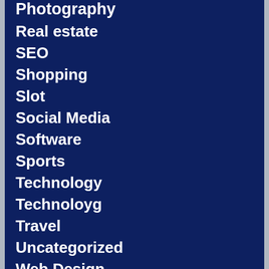Photography
Real estate
SEO
Shopping
Slot
Social Media
Software
Sports
Technology
Technoloyg
Travel
Uncategorized
Web Design
Web Development
Web hosting